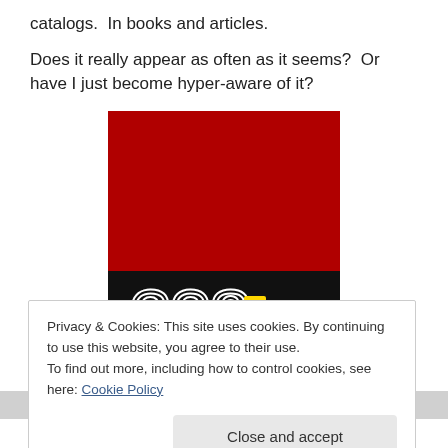catalogs.  In books and articles.
Does it really appear as often as it seems?  Or have I just become hyper-aware of it?
[Figure (photo): Ferrari 328 badge/emblem on a red background. The number '328' is displayed in a stylized chrome/white outlined font at the bottom of a red square, with a small Ferrari prancing horse logo between the 2 and 8.]
Privacy & Cookies: This site uses cookies. By continuing to use this website, you agree to their use.
To find out more, including how to control cookies, see here: Cookie Policy
Close and accept